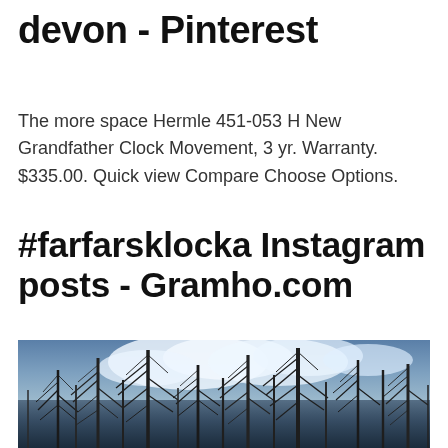devon - Pinterest
The more space Hermle 451-053 H New Grandfather Clock Movement, 3 yr. Warranty. $335.00. Quick view Compare Choose Options.
#farfarsklocka Instagram posts - Gramho.com
[Figure (photo): Photo of bare, dead conifer trees silhouetted against a cloudy blue sky with white clouds, taken from a low angle looking upward. Image appears to be from an Instagram post tagged #farfarsklocka.]